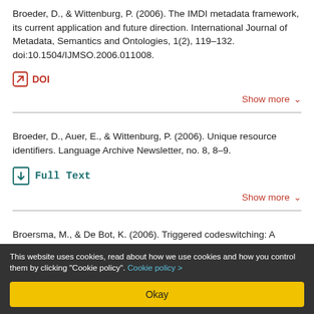Broeder, D., & Wittenburg, P. (2006). The IMDI metadata framework, its current application and future direction. International Journal of Metadata, Semantics and Ontologies, 1(2), 119–132. doi:10.1504/IJMSO.2006.011008.
DOI
Show more
Broeder, D., Auer, E., & Wittenburg, P. (2006). Unique resource identifiers. Language Archive Newsletter, no. 8, 8–9.
Full Text
Show more
Broersma, M., & De Bot, K. (2006). Triggered codeswitching: A
This website uses cookies, read about how we use cookies and how you control them by clicking "Cookie policy". Cookie policy >
Okay